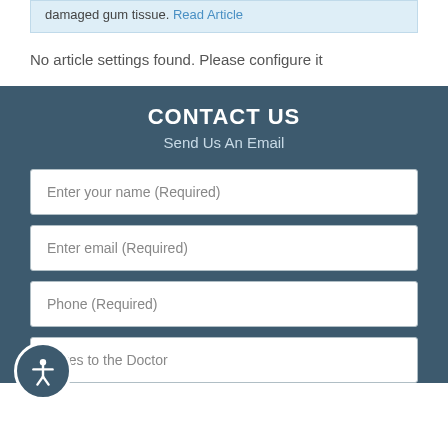damaged gum tissue. Read Article
No article settings found. Please configure it
CONTACT US
Send Us An Email
Enter your name (Required)
Enter email (Required)
Phone (Required)
Notes to the Doctor